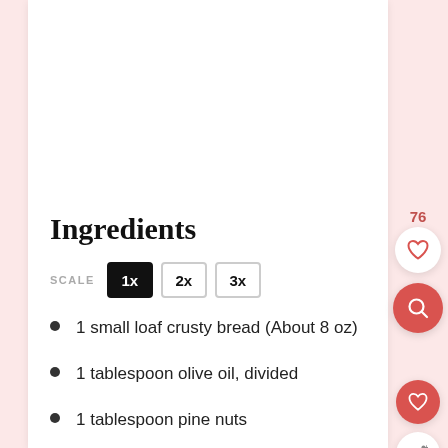Ingredients
SCALE  1x  2x  3x
1 small loaf crusty bread (About 8 oz)
1 tablespoon olive oil, divided
1 tablespoon pine nuts